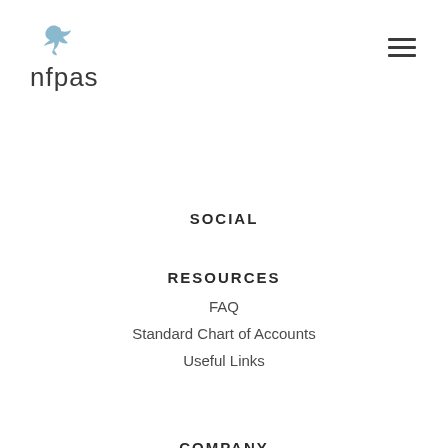[Figure (logo): nfpas logo with a dove/bird icon above the text 'nfpas' in dark grey sans-serif font]
SOCIAL
RESOURCES
FAQ
Standard Chart of Accounts
Useful Links
COMPANY
Our Team
Our Clients
About Us